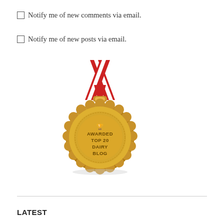Notify me of new comments via email.
Notify me of new posts via email.
[Figure (illustration): Gold medal award badge with red and white ribbon at top. The medal reads 'AWARDED TOP 20 DAIRY BLOG' with a small trophy icon. The medal has a decorative scalloped edge border with dot pattern detail.]
LATEST